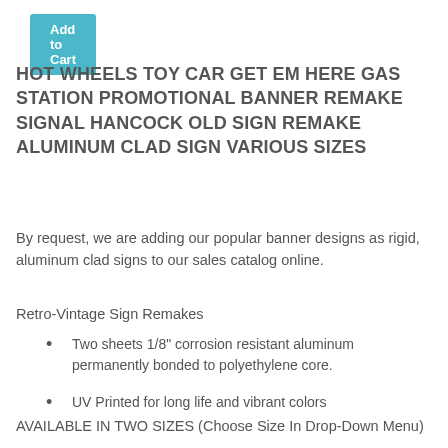[Figure (other): Add to Cart button (teal/cyan background with white text)]
HOT WHEELS TOY CAR GET EM HERE GAS STATION PROMOTIONAL BANNER REMAKE SIGNAL HANCOCK OLD SIGN REMAKE ALUMINUM CLAD SIGN VARIOUS SIZES
By request, we are adding our popular banner designs as rigid, aluminum clad signs to our sales catalog online.
Retro-Vintage Sign Remakes
Two sheets 1/8" corrosion resistant aluminum permanently bonded to polyethylene core.
UV Printed for long life and vibrant colors
AVAILABLE IN TWO SIZES (Choose Size In Drop-Down Menu)